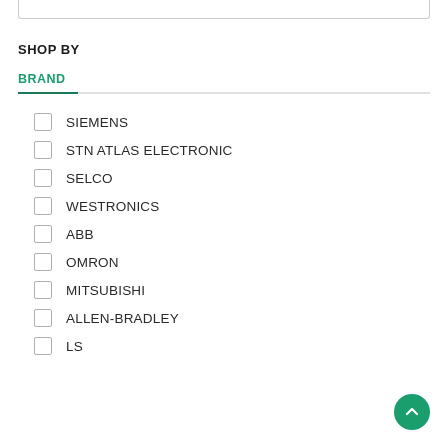SHOP BY
BRAND
SIEMENS
STN ATLAS ELECTRONIC
SELCO
WESTRONICS
ABB
OMRON
MITSUBISHI
ALLEN-BRADLEY
LS